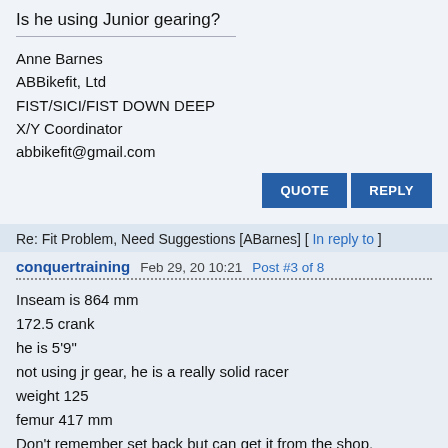Is he using Junior gearing?
Anne Barnes
ABBikefit, Ltd
FIST/SICI/FIST DOWN DEEP
X/Y Coordinator
abbikefit@gmail.com
Re: Fit Problem, Need Suggestions [ABarnes] [ In reply to ]
conquertraining  Feb 29, 20 10:21  Post #3 of 8
Inseam is 864 mm
172.5 crank
he is 5'9"
not using jr gear, he is a really solid racer
weight 125
femur 417 mm
Don't remember set back but can get it from the shop.